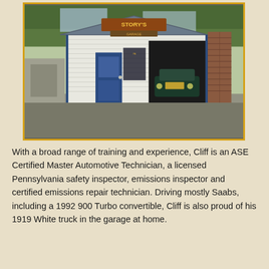[Figure (photo): Story's Garage building exterior with white siding, blue trim, open garage door revealing a classic car inside, and a brick column on the right side.]
With a broad range of training and experience, Cliff is an ASE Certified Master Automotive Technician, a licensed Pennsylvania safety inspector, emissions inspector and certified emissions repair technician. Driving mostly Saabs, including a 1992 900 Turbo convertible, Cliff is also proud of his 1919 White truck in the garage at home.
About Us